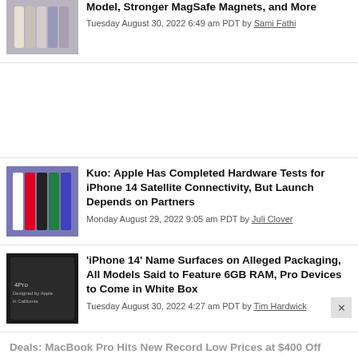Model, Stronger MagSafe Magnets, and More
Tuesday August 30, 2022 6:49 am PDT by Sami Fathi
Kuo: Apple Has Completed Hardware Tests for iPhone 14 Satellite Connectivity, But Launch Depends on Partners
Monday August 29, 2022 9:05 am PDT by Juli Clover
'iPhone 14' Name Surfaces on Alleged Packaging, All Models Said to Feature 6GB RAM, Pro Devices to Come in White Box
Tuesday August 30, 2022 4:27 am PDT by Tim Hardwick
Deals: MacBook Pro Hits New Record Low Prices at $400 Off
Monday August 29, 2022 6:44 am PDT by Mitchel Broussard